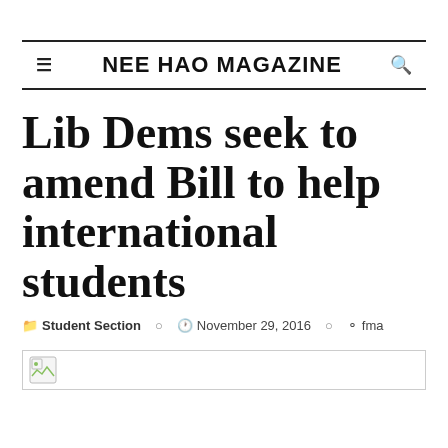≡  NEE HAO MAGAZINE  🔍
Lib Dems seek to amend Bill to help international students
📁 Student Section  🕐 November 29, 2016  👤 fma
[Figure (photo): Broken image placeholder]